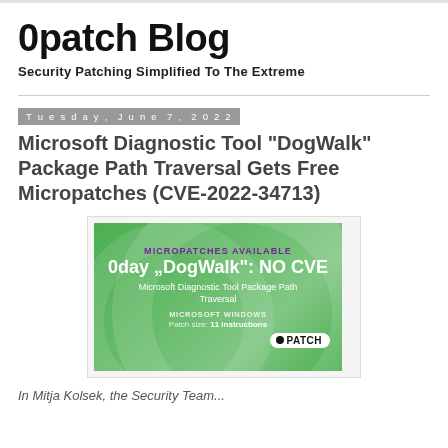0patch Blog
Security Patching Simplified To The Extreme
Tuesday, June 7, 2022
Microsoft Diagnostic Tool "DogWalk" Package Path Traversal Gets Free Micropatches (CVE-2022-34713)
[Figure (infographic): Green banner image: MICROPATCHES AVAILABLE, 0day DogWalk: NO CVE, Microsoft Diagnostic Tool Package Path Traversal, MICROSOFT WINDOWS, Patch size: 11 instructions, 0PATCH logo]
In Mitja Kolsek, the Security Team...